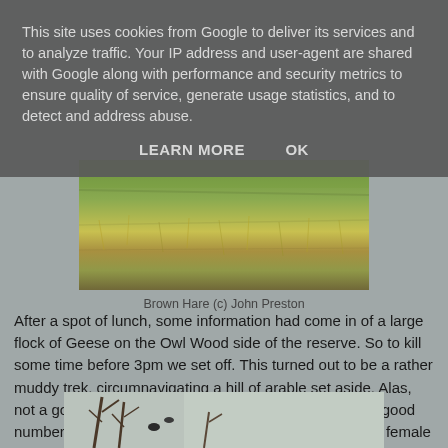This site uses cookies from Google to deliver its services and to analyze traffic. Your IP address and user-agent are shared with Google along with performance and security metrics to ensure quality of service, generate usage statistics, and to detect and address abuse.
LEARN MORE    OK
[Figure (photo): Photograph of a brown hare in a grassy field with dry grass and green vegetation]
Brown Hare (c) John Preston
After a spot of lunch, some information had come in of a large flock of Geese on the Owl Wood side of the reserve. So to kill some time before 3pm we set off. This turned out to be a rather muddy trek, circumnavigating a hill of arable set aside. Alas, not a goose in sight. But on reaching the furthest point, good numbers of Redwing a handful of Fieldfare and a single female Yellowhammer.
[Figure (photo): Partially visible photograph showing branches or twigs against a light background]